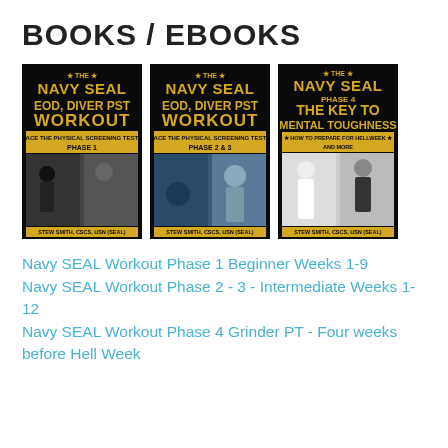BOOKS / EBOOKS
[Figure (photo): Three book covers side by side: 'The Navy SEAL EOD, Diver PST Workout Phase 1', 'The Navy SEAL EOD, Diver PST Workout Phase 2 & 3', and 'The Navy SEAL Phase 4 The Key to Mental Toughness', all by Stew Smith, CSCS, USN (SEAL)]
Navy SEAL Workout Phase 1 Beginner Weeks 1-9
Navy SEAL Workout Phase 2 - 3 - Intermediate Weeks 1-12
Navy SEAL Workout Phase 4 Grinder PT - Four weeks before Hell Week